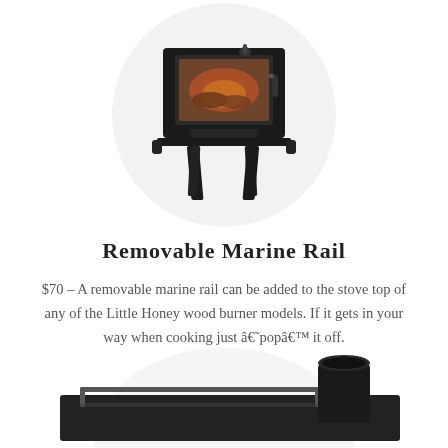[Figure (photo): A small black wood burning stove with glass door showing logs inside, on four tapered legs, set against a light circular background]
Removable Marine Rail
$70 – A removable marine rail can be added to the stove top of any of the Little Honey wood burner models. If it gets in your way when cooking just â€˜popâ€™ it off.
[Figure (photo): A black metal marine rail/guard shown on top of a flat stove surface with a cylindrical flue pipe visible, on a light circular background]